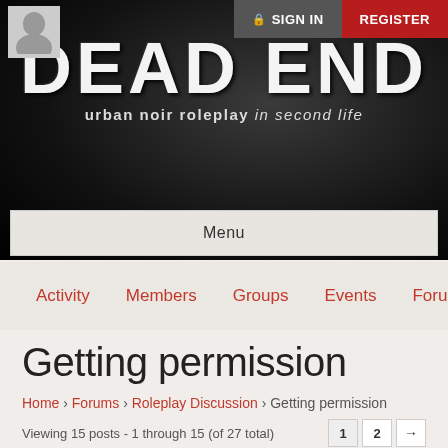[Figure (screenshot): Dead End urban noir roleplay website header with dark smoky background, site logo 'DEAD END' in large white distressed text, subtitle 'urban noir roleplay in second life', avatar placeholder top left, Sign In and Register buttons top right]
Menu
Activity  Members  Groups  Events  Forums  Go Back
Getting permission
Home › Forums › Roleplay Discussion › Getting permission
Viewing 15 posts - 1 through 15 (of 27 total)